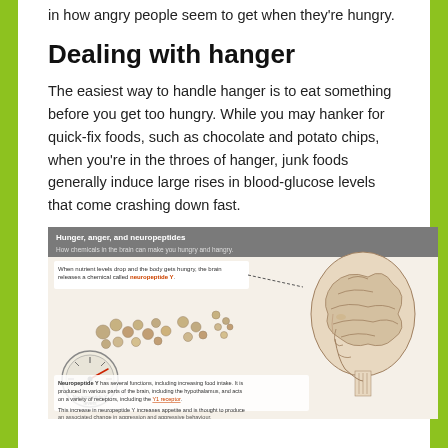in how angry people seem to get when they're hungry.
Dealing with hanger
The easiest way to handle hanger is to eat something before you get too hungry. While you may hanker for quick-fix foods, such as chocolate and potato chips, when you're in the throes of hanger, junk foods generally induce large rises in blood-glucose levels that come crashing down fast.
[Figure (infographic): Infographic titled 'Hunger, anger, and neuropeptides' with subtitle 'How chemicals in the brain can make you hungry and hangry'. Shows neuropeptide Y molecules, a gauge/meter for Neuropeptide Y levels, a cross-section of the human brain, and explanatory text about neuropeptide Y's role in hunger, appetite, and aggression.]